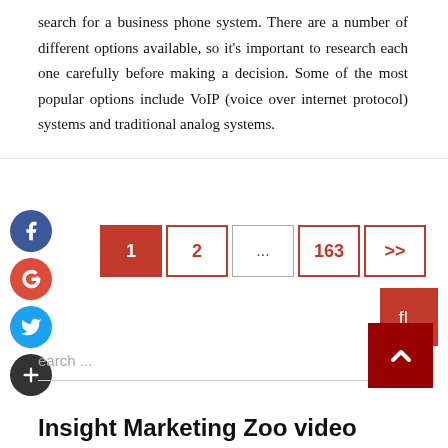search for a business phone system. There are a number of different options available, so it's important to research each one carefully before making a decision. Some of the most popular options include VoIP (voice over internet protocol) systems and traditional analog systems.
[Figure (other): Social media sharing icons: Facebook (blue circle), Google+ (red circle), Twitter (blue circle), Add/Plus (dark circle)]
[Figure (other): Pagination navigation: page 1 (active, red), page 2, ellipsis, page 163, next (>>)]
earch ...
[Figure (other): Scroll-to-top button widget with red background showing 'fl' logo and upward arrow]
Insight Marketing Zoo video